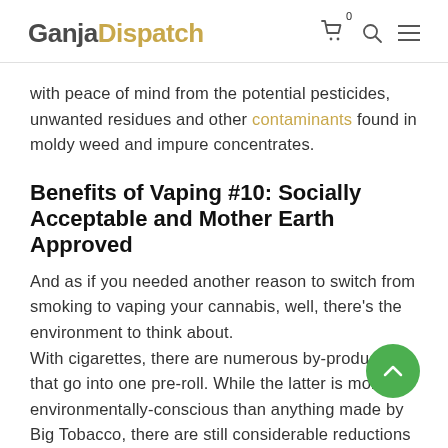GanjaDispatch — navigation header with cart (0), search, and menu icons
with peace of mind from the potential pesticides, unwanted residues and other contaminants found in moldy weed and impure concentrates.
Benefits of Vaping #10: Socially Acceptable and Mother Earth Approved
And as if you needed another reason to switch from smoking to vaping your cannabis, well, there's the environment to think about.
With cigarettes, there are numerous by-products that go into one pre-roll. While the latter is more environmentally-conscious than anything made by Big Tobacco, there are still considerable reductions in the number of trees that